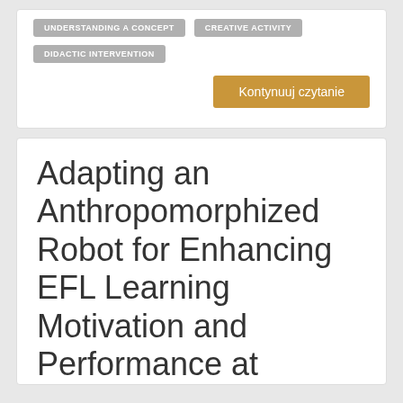UNDERSTANDING A CONCEPT
CREATIVE ACTIVITY
DIDACTIC INTERVENTION
Kontynuuj czytanie
Adapting an Anthropomorphized Robot for Enhancing EFL Learning Motivation and Performance at